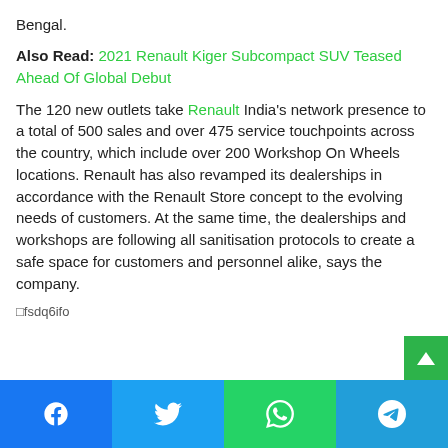Bengal.
Also Read: 2021 Renault Kiger Subcompact SUV Teased Ahead Of Global Debut
The 120 new outlets take Renault India’s network presence to a total of 500 sales and over 475 service touchpoints across the country, which include over 200 Workshop On Wheels locations. Renault has also revamped its dealerships in accordance with the Renault Store concept to the evolving needs of customers. At the same time, the dealerships and workshops are following all sanitisation protocols to create a safe space for customers and personnel alike, says the company.
[Figure (screenshot): Broken image placeholder showing fsdq6ifo]
Facebook | Twitter | WhatsApp | Telegram share buttons bar